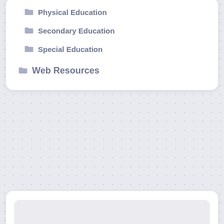Physical Education
Secondary Education
Special Education
Web Resources
[Figure (screenshot): Empty white card widget with light gray inner box, part of a sidebar widget area]
Recent Posts
Adult Acne Face Wash – Get Rid of Unwanted Acne